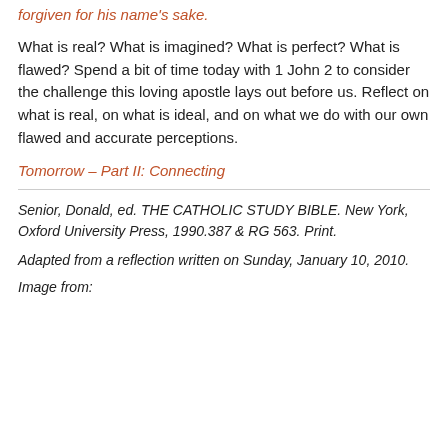forgiven for his name's sake.
What is real? What is imagined? What is perfect? What is flawed? Spend a bit of time today with 1 John 2 to consider the challenge this loving apostle lays out before us. Reflect on what is real, on what is ideal, and on what we do with our own flawed and accurate perceptions.
Tomorrow – Part II: Connecting
Senior, Donald, ed. THE CATHOLIC STUDY BIBLE. New York, Oxford University Press, 1990.387 & RG 563. Print.
Adapted from a reflection written on Sunday, January 10, 2010.
Image from: